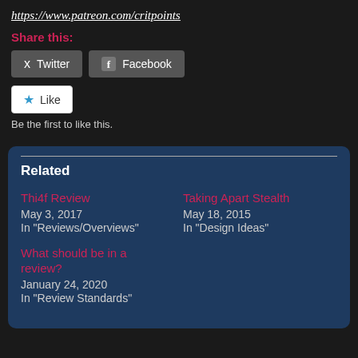https://www.patreon.com/critpoints
Share this:
Twitter
Facebook
Like
Be the first to like this.
Related
Thi4f Review
May 3, 2017
In "Reviews/Overviews"
Taking Apart Stealth
May 18, 2015
In "Design Ideas"
What should be in a review?
January 24, 2020
In "Review Standards"